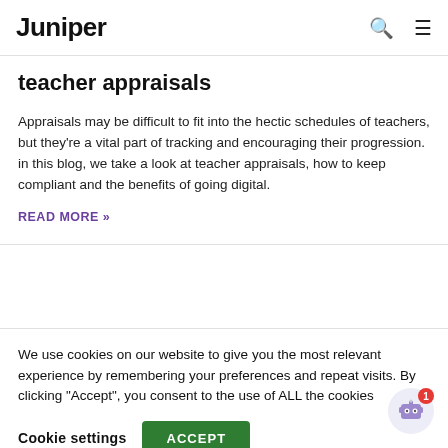Juniper
teacher appraisals
Appraisals may be difficult to fit into the hectic schedules of teachers, but they're a vital part of tracking and encouraging their progression. in this blog, we take a look at teacher appraisals, how to keep compliant and the benefits of going digital.
READ MORE »
Juniper Education  •  30 August, 2022
We use cookies on our website to give you the most relevant experience by remembering your preferences and repeat visits. By clicking "Accept", you consent to the use of ALL the cookies
Cookie settings  ACCEPT